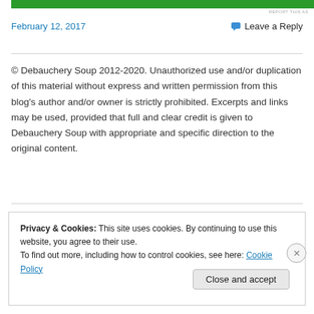[Figure (other): Green banner at top of page]
REPORT THIS AS
February 12, 2017
Leave a Reply
© Debauchery Soup 2012-2020. Unauthorized use and/or duplication of this material without express and written permission from this blog's author and/or owner is strictly prohibited. Excerpts and links may be used, provided that full and clear credit is given to Debauchery Soup with appropriate and specific direction to the original content.
Privacy & Cookies: This site uses cookies. By continuing to use this website, you agree to their use.
To find out more, including how to control cookies, see here: Cookie Policy
Close and accept